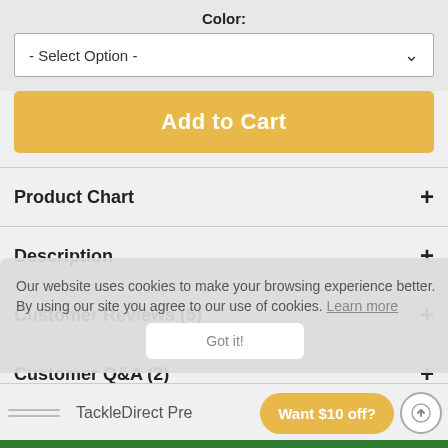Color:
- Select Option -
Add to Cart
Product Chart
Description
Customer Reviews (5)
Customer Q&A (2)
Our website uses cookies to make your browsing experience better. By using our site you agree to our use of cookies. Learn more
Got it!
TackleDirect Pre
Want $10 off?